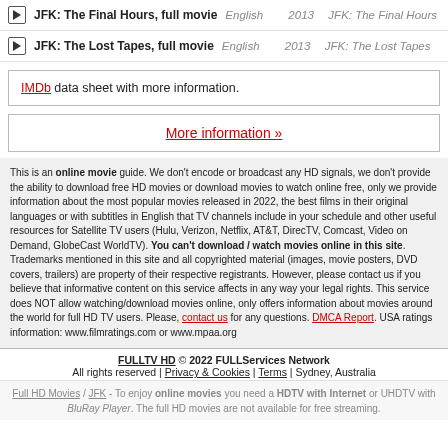JFK: The Final Hours, full movie — English 2013 JFK: The Final Hours
JFK: The Lost Tapes, full movie — English 2013 JFK: The Lost Tapes
IMDb data sheet with more information.
More information »
This is an online movie guide. We don't encode or broadcast any HD signals, we don't provide the ability to download free HD movies or download movies to watch online free, only we provide information about the most popular movies released in 2022, the best films in their original languages or with subtitles in English that TV channels include in your schedule and other useful resources for Satellite TV users (Hulu, Verizon, Netflix, AT&T, DirecTV, Comcast, Video on Demand, GlobeCast WorldTV). You can't download / watch movies online in this site. Trademarks mentioned in this site and all copyrighted material (images, movie posters, DVD covers, trailers) are property of their respective registrants. However, please contact us if you believe that informative content on this service affects in any way your legal rights. This service does NOT allow watching/download movies online, only offers information about movies around the world for full HD TV users. Please, contact us for any questions. DMCA Report. USA ratings information: www.filmratings.com or www.mpaa.org
FULLTV HD © 2022 FULLServices Network
All rights reserved | Privacy & Cookies | Terms | Sydney, Australia
Full HD Movies / JFK - To enjoy online movies you need a HDTV with Internet or UHDTV with BluRay Player. The full HD movies are not available for free streaming.